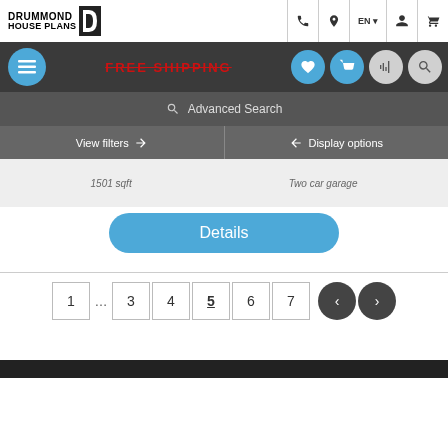DRUMMOND HOUSE PLANS
FREE SHIPPING
Advanced Search
View filters   Display options
1501 sqft   Two car garage
Details
1 ... 3 4 5 6 7